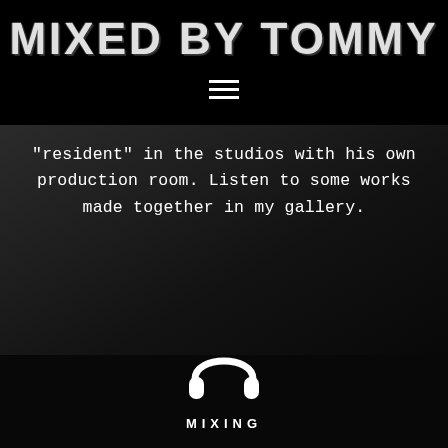MIXED BY TOMMY
“resident” in the studios with his own production room. Listen to some works made together in my gallery.
[Figure (illustration): White headphones icon on dark studio background]
MIXING
MIXED by TOMMY. I personally follow every single phase of the mix to ensure that all of my clients will achieve their goal.